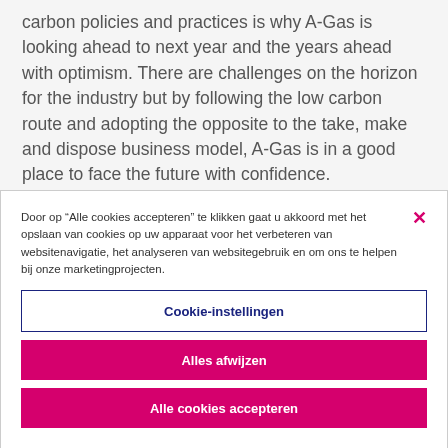carbon policies and practices is why A-Gas is looking ahead to next year and the years ahead with optimism. There are challenges on the horizon for the industry but by following the low carbon route and adopting the opposite to the take, make and dispose business model, A-Gas is in a good place to face the future with confidence.
Door op “Alle cookies accepteren” te klikken gaat u akkoord met het opslaan van cookies op uw apparaat voor het verbeteren van websitenavigatie, het analyseren van websitegebruik en om ons te helpen bij onze marketingprojecten.
Cookie-instellingen
Alles afwijzen
Alle cookies accepteren